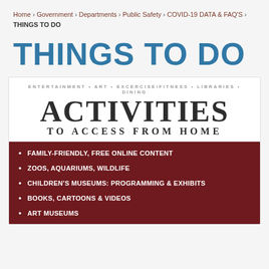Home › Government › Departments › Public Safety › COVID-19 DATA & FAQ'S › THINGS TO DO
THINGS TO DO
[Figure (infographic): Activities to Access from Home infographic card with subtitle 'ENTERTAINMENT • ART • EXCERCISE/FITNESS • LIBRARIES • DINING', large text 'ACTIVITIES TO ACCESS FROM HOME', and a dark red section listing bullet points.]
FAMILY-FRIENDLY, FREE ONLINE CONTENT
ZOOS, AQUARIUMS, WILDLIFE
CHILDREN'S MUSEUMS: PROGRAMMING & EXHIBITS
BOOKS, CARTOONS & VIDEOS
ART MUSEUMS